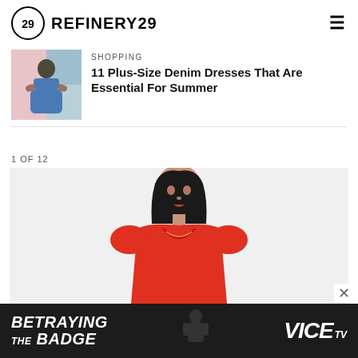REFINERY29
SHOPPING
11 Plus-Size Denim Dresses That Are Essential For Summer
1 OF 12
[Figure (photo): Woman in red dress, upper body visible, dark hair, model photo for Refinery29 slideshow]
[Figure (photo): Advertisement banner for 'Betraying The Badge' on VICE TV, dark background]